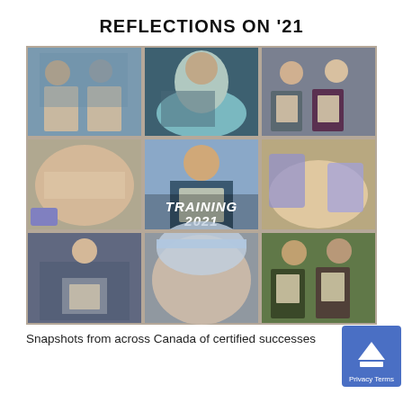REFLECTIONS ON '21
[Figure (photo): A 3x3 collage of nine photos showing medical/aesthetic training sessions in 2021 across Canada. Photos include practitioners holding certificates, performing procedures with masks on, and hands-on training. Overlaid text reads 'TRAINING 2021'.]
Snapshots from across Canada of certified successes